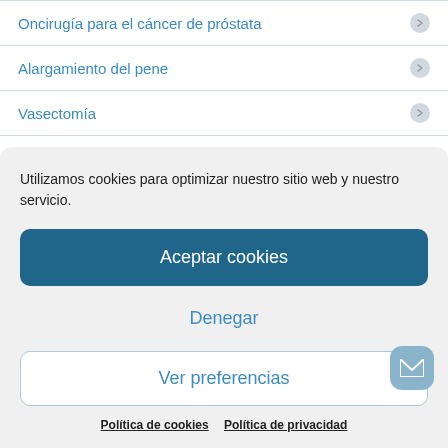Oncirugía para el cáncer de próstata
Alargamiento del pene
Vasectomía
Vasovasostomía
Cirugia laser de Prostata
Utilizamos cookies para optimizar nuestro sitio web y nuestro servicio.
Aceptar cookies
Denegar
Ver preferencias
Política de cookies  Política de privacidad